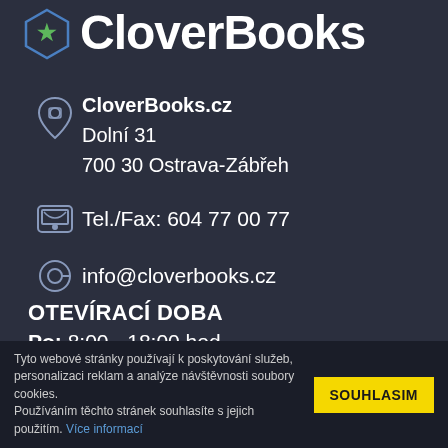CloverBooks
CloverBooks.cz
Dolní 31
700 30 Ostrava-Zábřeh
Tel./Fax: 604 77 00 77
info@cloverbooks.cz
OTEVÍRACÍ DOBA
Po: 8:00 - 18:00 hod.
Út: 8:00 - 18:00 hod.
St: 8:00 - 18:00 hod.
Tyto webové stránky používají k poskytování služeb, personalizaci reklam a analýze návštěvnosti soubory cookies. Používáním těchto stránek souhlasíte s jejich použitím. Více informací  SOUHLASIM